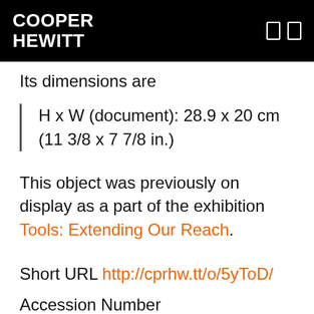COOPER HEWITT
Its dimensions are
H x W (document): 28.9 x 20 cm (11 3/8 x 7 7/8 in.)
This object was previously on display as a part of the exhibition Tools: Extending Our Reach.
Short URL http://cprhw.tt/o/5yToD/
Accession Number